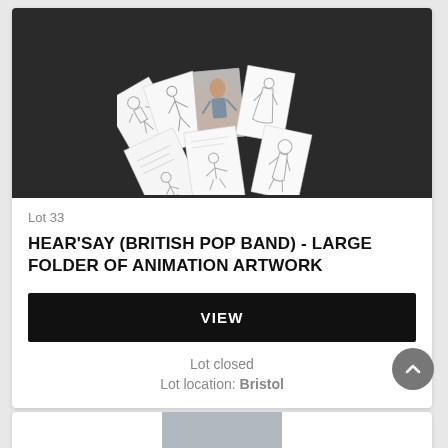[Figure (photo): Photo of multiple hand-drawn animation artwork sheets fanned out on a dark surface, showing sketched figures in various poses including human characters in different outfits]
Lot 33
HEAR'SAY (BRITISH POP BAND) - LARGE FOLDER OF ANIMATION ARTWORK
VIEW
Lot closed
Lot location: Bristol